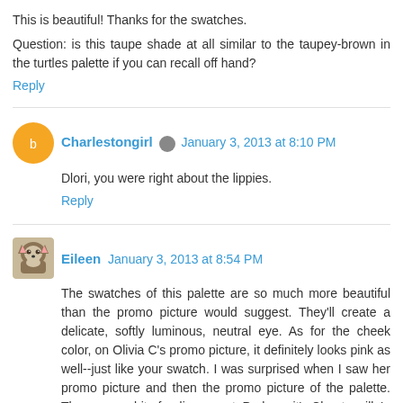This is beautiful! Thanks for the swatches.
Question: is this taupe shade at all similar to the taupey-brown in the turtles palette if you can recall off hand?
Reply
Charlestongirl  January 3, 2013 at 8:10 PM
Dlori, you were right about the lippies.
Reply
Eileen  January 3, 2013 at 8:54 PM
The swatches of this palette are so much more beautiful than the promo picture would suggest. They'll create a delicate, softly luminous, neutral eye. As for the cheek color, on Olivia C's promo picture, it definitely looks pink as well--just like your swatch. I was surprised when I saw her promo picture and then the promo picture of the palette. There was a bit of a disconnect. Perhaps it's Chantecaille's